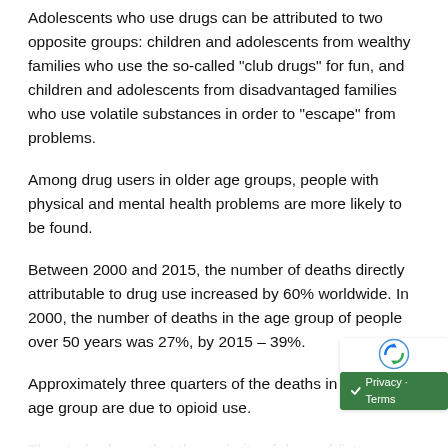Adolescents who use drugs can be attributed to two opposite groups: children and adolescents from wealthy families who use the so-called “club drugs” for fun, and children and adolescents from disadvantaged families who use volatile substances in order to “escape” from problems.
Among drug users in older age groups, people with physical and mental health problems are more likely to be found.
Between 2000 and 2015, the number of deaths directly attributable to drug use increased by 60% worldwide. In 2000, the number of deaths in the age group of people over 50 years was 27%, by 2015 – 39%.
Approximately three quarters of the deaths in the 50+ age group are due to opioid use.
The study shows that the majority of drug addicts are men, women are distinguished by specific forms of drug use (tranquilizers, sleeping pills). It is said that women are more using